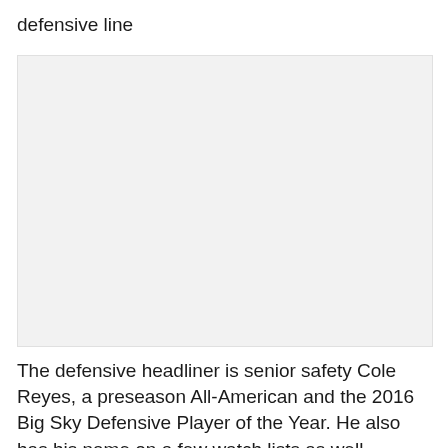defensive line
[Figure (photo): Large blank/white image placeholder area occupying the middle section of the page]
The defensive headliner is senior safety Cole Reyes, a preseason All-American and the 2016 Big Sky Defensive Player of the Year. He also has his name on a few watch lists as well including the Buck Buchanan Award Watch List (FCS Defensive POY), and Reese's